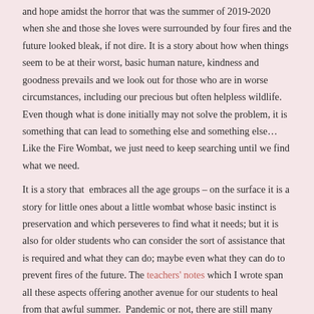and hope amidst the horror that was the summer of 2019-2020 when she and those she loves were surrounded by four fires and the future looked bleak, if not dire. It is a story about how when things seem to be at their worst, basic human nature, kindness and goodness prevails and we look out for those who are in worse circumstances, including our precious but often helpless wildlife. Even though what is done initially may not solve the problem, it is something that can lead to something else and something else… Like the Fire Wombat, we just need to keep searching until we find what we need.
It is a story that  embraces all the age groups – on the surface it is a story for little ones about a little wombat whose basic instinct is preservation and which perseveres to find what it needs; but it is also for older students who can consider the sort of assistance that is required and what they can do; maybe even what they can do to prevent fires of the future. The teachers' notes which I wrote span all these aspects offering another avenue for our students to heal from that awful summer.  Pandemic or not, there are still many wounds to tend to.
No matter at what level you read this beautiful story – along the lines, between them or beyond them – you  will acknowledge that Jackie French